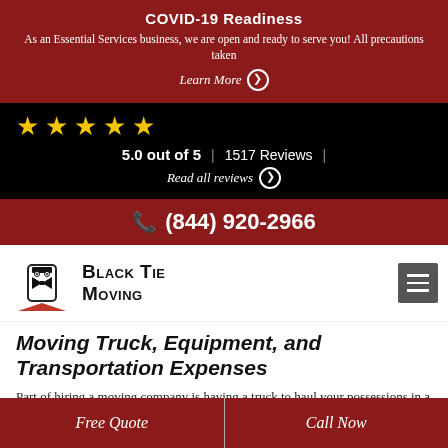COVID-19 Readiness
As an Essential Services business, we are open and ready to serve you! All precautions taken
Learn More
5.0 out of 5 | 1517 Reviews |
Read all reviews
(844) 920-2966
[Figure (logo): Black Tie Moving company logo with shield/bowtie graphic and red triangle]
Moving Truck, Equipment, and Transportation Expenses
Part of hiring a moving company is having a truck to haul your possessions in a safe manner to your new home. Professional moving companies make sure their trucks are in top shape, and the movers are proficient in making
Free Quote | Call Now